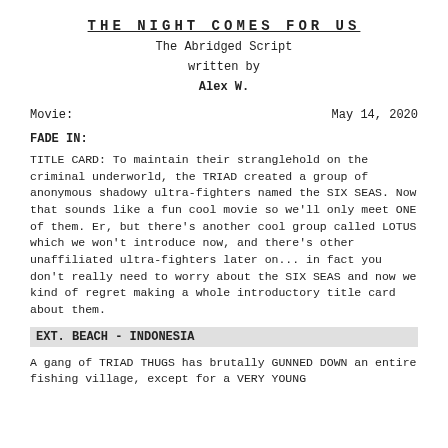THE NIGHT COMES FOR US
The Abridged Script
written by
Alex W.
Movie:                                    May 14, 2020
FADE IN:
TITLE CARD: To maintain their stranglehold on the criminal underworld, the TRIAD created a group of anonymous shadowy ultra-fighters named the SIX SEAS. Now that sounds like a fun cool movie so we'll only meet ONE of them. Er, but there's another cool group called LOTUS which we won't introduce now, and there's other unaffiliated ultra-fighters later on... in fact you don't really need to worry about the SIX SEAS and now we kind of regret making a whole introductory title card about them.
EXT. BEACH - INDONESIA
A gang of TRIAD THUGS has brutally GUNNED DOWN an entire fishing village, except for a VERY YOUNG